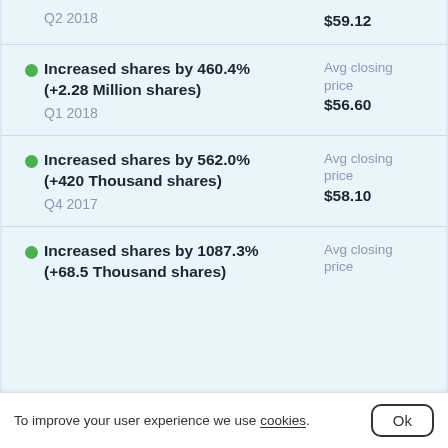Q2 2018 | Avg closing price $59.12
Increased shares by 460.4% (+2.28 Million shares) Q1 2018 | Avg closing price $56.60
Increased shares by 562.0% (+420 Thousand shares) Q4 2017 | Avg closing price $58.10
Increased shares by 1087.3% (+68.5 Thousand shares) | Avg closing price
To improve your user experience we use cookies.